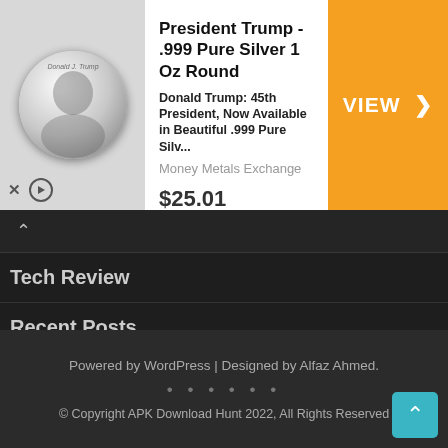[Figure (infographic): Advertisement banner: President Trump .999 Pure Silver 1 Oz Round coin. Shows coin image on left, product title, description, price $25.01, and orange VIEW > button on right. Source: Money Metals Exchange.]
Tech Review
Recent Posts
Poppy Playtime Chapter 2 (MOD, Unlimited Money/Full Game)
Real Wrestling Game 3D (MOD, Unlimited Money)
Super Wizard (MOD, Unlimited Money/Damage, God Mode)
Spider Fighter (Spider Hero) (MOD, Unlimited Money/Dumb Ennemies)
Powered by WordPress | Designed by Alfaz Ahmed.
© Copyright APK Download Hunt 2022, All Rights Reserved